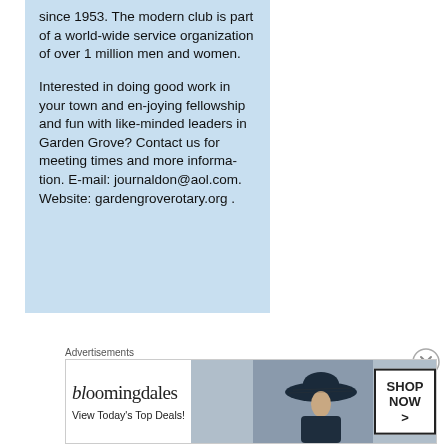since 1953. The modern club is part of a world-wide service organization of over 1 million men and women.
Interested in doing good work in your town and enjoying fellowship and fun with like-minded leaders in Garden Grove? Contact us for meeting times and more information. E-mail: journaldon@aol.com. Website: gardengroverotary.org .
[Figure (other): Close button (X circle icon)]
Advertisements
[Figure (other): Bloomingdale's advertisement banner with logo, tagline 'View Today's Top Deals!', woman in wide-brim hat, and 'SHOP NOW >' button]